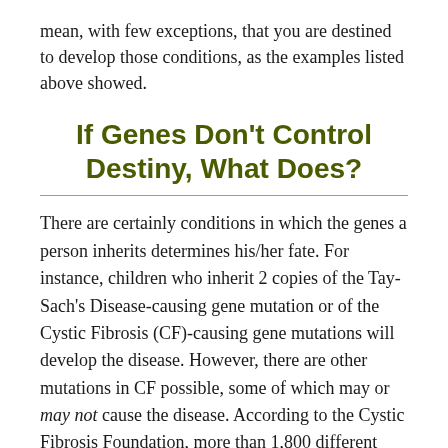mean, with few exceptions, that you are destined to develop those conditions, as the examples listed above showed.
If Genes Don't Control Destiny, What Does?
There are certainly conditions in which the genes a person inherits determines his/her fate. For instance, children who inherit 2 copies of the Tay-Sach's Disease-causing gene mutation or of the Cystic Fibrosis (CF)-causing gene mutations will develop the disease. However, there are other mutations in CF possible, some of which may or may not cause the disease. According to the Cystic Fibrosis Foundation, more than 1,800 different